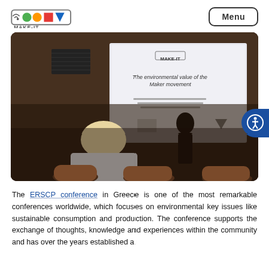MAKE-IT logo and Menu button
[Figure (photo): Conference room photo showing audience members seated watching a presenter standing near a projected slide screen. The slide on screen shows the MAKE-IT logo and title 'The environmental value of the Maker movement'.]
The ERSCP conference in Greece is one of the most remarkable conferences worldwide, which focuses on environmental key issues like sustainable consumption and production. The conference supports the exchange of thoughts, knowledge and experiences within the community and has over the years established a